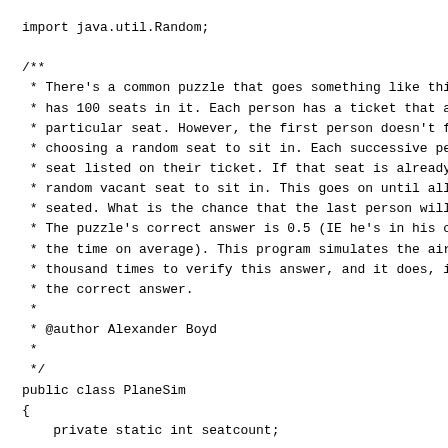import java.util.Random;

/**
 * There's a common puzzle that goes something like this:
 * has 100 seats in it. Each person has a ticket that ass
 * particular seat. However, the first person doesn't fol
 * choosing a random seat to sit in. Each successive pers
 * seat listed on their ticket. If that seat is already t
 * random vacant seat to sit in. This goes on until all 1
 * seated. What is the chance that the last person will b
 * The puzzle's correct answer is 0.5 (IE he's in his cor
 * the time on average). This program simulates the airpl
 * thousand times to verify this answer, and it does, ind
 * the correct answer.
 *
 * @author Alexander Boyd
 *
 */
public class PlaneSim
{
    private static int seatcount;

    /**
     * @param args
     */
     public static void main(String[] args)